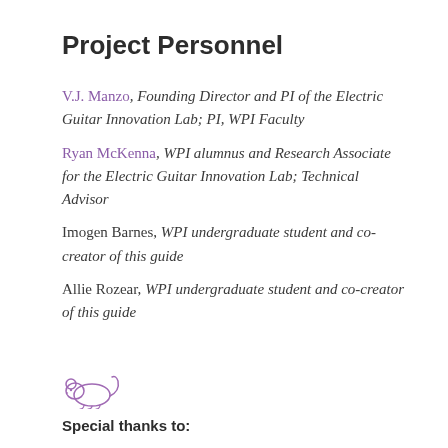Project Personnel
V.J. Manzo, Founding Director and PI of the Electric Guitar Innovation Lab; PI, WPI Faculty
Ryan McKenna, WPI alumnus and Research Associate for the Electric Guitar Innovation Lab; Technical Advisor
Imogen Barnes, WPI undergraduate student and co-creator of this guide
Allie Rozear, WPI undergraduate student and co-creator of this guide
[Figure (illustration): Small purple line drawing of a mouse (animal)]
Special thanks to: